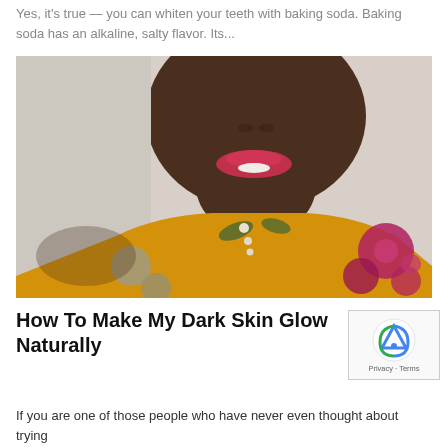Yes, it's true — you can whiten your teeth with baking soda. Baking soda has an alkaline, salty flavor. Its...
[Figure (photo): Close-up photo of a Black woman with red lipstick, chin tilted up, wearing a yellow floral blouse]
How To Make My Dark Skin Glow Naturally
If you are one of those people who have never even thought about trying